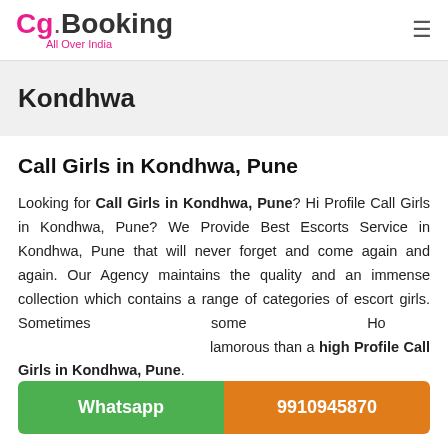Cg.Booking All Over India
Kondhwa
Call Girls in Kondhwa, Pune
Looking for Call Girls in Kondhwa, Pune? Hi Profile Call Girls in Kondhwa, Pune? We Provide Best Escorts Service in Kondhwa, Pune that will never forget and come again and again. Our Agency maintains the quality and an immense collection which contains a range of categories of escort girls. Sometimes some Ho... or ...llamorous than a high Profile Call Girls in Kondhwa, Pune.